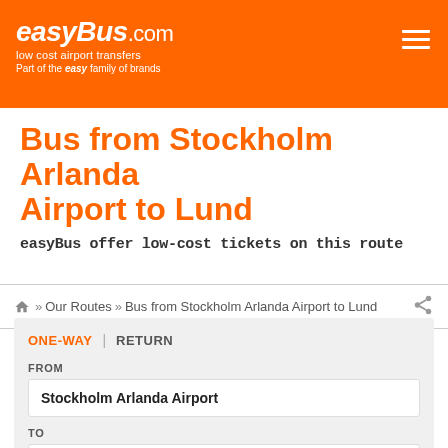easyBus.com — low cost airport transfers — Part of the easy family of brands
Bus from Stockholm Arlanda Airport to Lund
easyBus offer low-cost tickets on this route
Home » Our Routes » Bus from Stockholm Arlanda Airport to Lund
ONE-WAY | RETURN
FROM
Stockholm Arlanda Airport
TO
Lund
DATE   DEPART AFTER